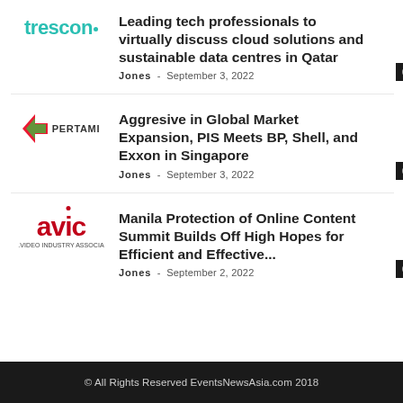[Figure (logo): Trescon logo in teal/cyan color]
Leading tech professionals to virtually discuss cloud solutions and sustainable data centres in Qatar
Jones - September 3, 2022
[Figure (logo): Pertamina (PERTAMI) logo with red and green arrow symbol]
Aggresive in Global Market Expansion, PIS Meets BP, Shell, and Exxon in Singapore
Jones - September 3, 2022
[Figure (logo): AVIC - Asia Video Industry Association logo in red]
Manila Protection of Online Content Summit Builds Off High Hopes for Efficient and Effective...
Jones - September 2, 2022
© All Rights Reserved EventsNewsAsia.com 2018